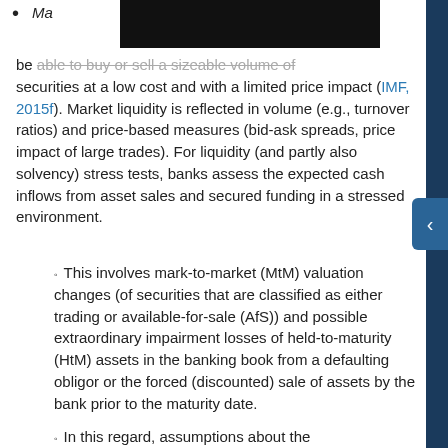Ma[rket liquidity is the ability of market participants to] be [able to buy or sell a sizeable volume of] securities at a low cost and with a limited price impact (IMF, 2015f). Market liquidity is reflected in volume (e.g., turnover ratios) and price-based measures (bid-ask spreads, price impact of large trades). For liquidity (and partly also solvency) stress tests, banks assess the expected cash inflows from asset sales and secured funding in a stressed environment.
This involves mark-to-market (MtM) valuation changes (of securities that are classified as either trading or available-for-sale (AfS)) and possible extraordinary impairment losses of held-to-maturity (HtM) assets in the banking book from a defaulting obligor or the forced (discounted) sale of assets by the bank prior to the maturity date.
In this regard, assumptions about the